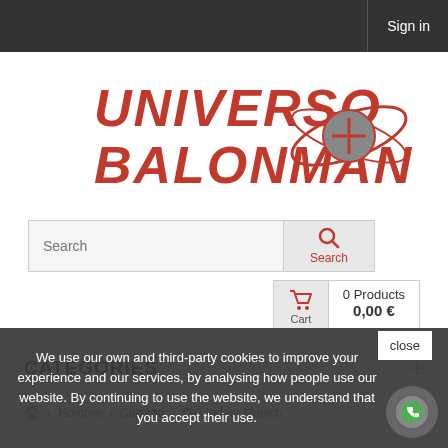Sign in
[Figure (logo): Universo Balonmano logo with red stylized text and globe graphic with orbit rings]
Search
0 Products
0,00 €
Cart
CATEGORIES +
🏠 > Hombre > Calzado > G-3 Indoor Munich
We use our own and third-party cookies to improve your experience and our services, by analysing how people use our website. By continuing to use the website, we understand that you accept their use.